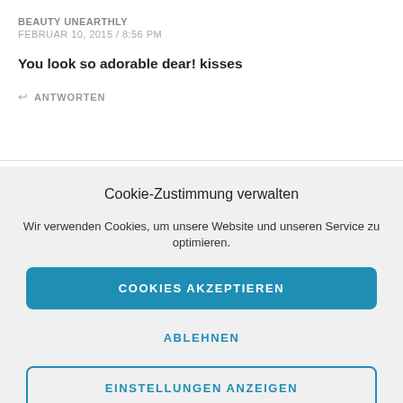BEAUTY UNEARTHLY
FEBRUAR 10, 2015 / 8:56 PM
You look so adorable dear! kisses
↩ ANTWORTEN
Cookie-Zustimmung verwalten
Wir verwenden Cookies, um unsere Website und unseren Service zu optimieren.
COOKIES AKZEPTIEREN
ABLEHNEN
EINSTELLUNGEN ANZEIGEN